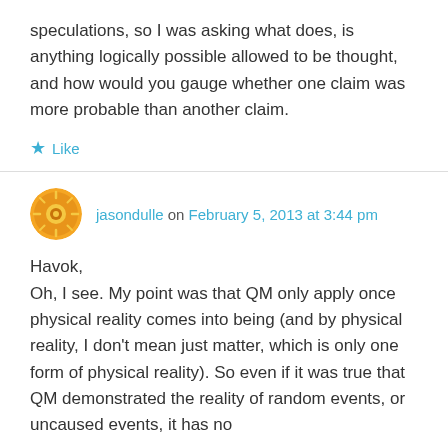speculations, so I was asking what does, is anything logically possible allowed to be thought, and how would you gauge whether one claim was more probable than another claim.
★ Like
jasondulle on February 5, 2013 at 3:44 pm
Havok,
Oh, I see. My point was that QM only apply once physical reality comes into being (and by physical reality, I don't mean just matter, which is only one form of physical reality). So even if it was true that QM demonstrated the reality of random events, or uncaused events, it has no